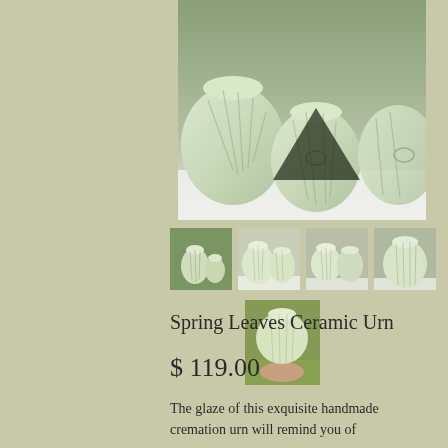[Figure (photo): Main product photo: several green/white leaf-patterned ceramic urns on a white surface]
[Figure (photo): Thumbnail 1: multiple small ceramic urns outdoors with green background]
[Figure (photo): Thumbnail 2: two ceramic urns on white surface side view]
[Figure (photo): Thumbnail 3: two ceramic urns close-up front view]
[Figure (photo): Thumbnail 4: single ceramic urn close-up]
[Figure (photo): Thumbnail 5 (bottom center): hand holding a small round ceramic urn outdoors]
Spring Leaves Ceramic Urn
$ 119.00
The glaze of this exquisite handmade cremation urn will remind you of